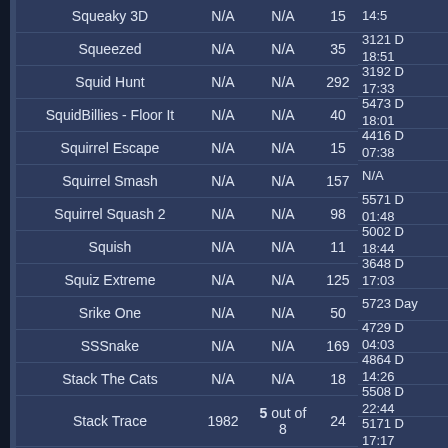| Game | Col2 | Col3 | Col4 | Col5 |
| --- | --- | --- | --- | --- |
| Squeaky 3D | N/A | N/A | 15 | 3121 D
18:51 |
| Squeezed | N/A | N/A | 35 | 3192 D
17:33 |
| Squid Hunt | N/A | N/A | 292 | 5473 D
18:01 |
| SquidBillies - Floor It | N/A | N/A | 40 | 4416 D
07:38 |
| Squirrel Escape | N/A | N/A | 15 | N/A |
| Squirrel Smash | N/A | N/A | 157 | 5571 D
01:48 |
| Squirrel Squash 2 | N/A | N/A | 98 | 5002 D
18:44 |
| Squish | N/A | N/A | 11 | 3648 D
17:03 |
| Squiz Extreme | N/A | N/A | 125 | 5723 Day |
| Srike One | N/A | N/A | 50 | 4729 D
04:03 |
| SSSnake | N/A | N/A | 169 | 4864 D
14:26 |
| Stack The Cats | N/A | N/A | 18 | 5508 D
22:44 |
| Stack Trace | 1982 | 5 out of 8 | 24 | 5171 D
17:17 |
| Stack Up | N/A | N/A | 73 | 4322 D
19:24 |
| Stackopolis | N/A | N/A | 69 | 4233 D
02:5 |